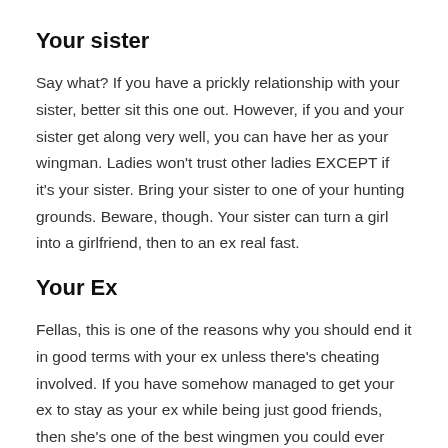Your sister
Say what? If you have a prickly relationship with your sister, better sit this one out. However, if you and your sister get along very well, you can have her as your wingman. Ladies won't trust other ladies EXCEPT if it's your sister. Bring your sister to one of your hunting grounds. Beware, though. Your sister can turn a girl into a girlfriend, then to an ex real fast.
Your Ex
Fellas, this is one of the reasons why you should end it in good terms with your ex unless there's cheating involved. If you have somehow managed to get your ex to stay as your ex while being just good friends, then she's one of the best wingmen you could ever have. No, it doesn't mean that you have to go out again so you could meet new ladies, you could hang out as a group and have her